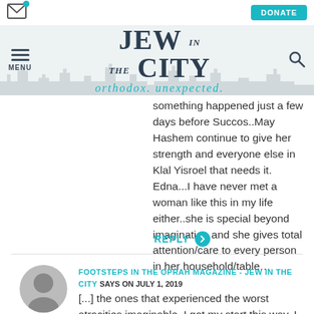[Figure (screenshot): Website header with envelope icon and blue notification dot on left, teal DONATE button on right]
[Figure (logo): JEW in the CITY logo with tagline 'orthodox. unexpected.' in teal italic script, with city skyline silhouette]
something happened just a few days before Succos..May Hashem continue to give her strength and everyone else in Klal Yisroel that needs it. Edna...I have never met a woman like this in my life either..she is special beyond imagination and she gives total attention/care to every person in her household/table...
REPLY
FOOTSTEPS IN THE OPRAH MAGAZINE - JEW IN THE CITY SAYS ON JULY 1, 2019
[...] the ones that experienced the worst atrocities imaginable. I got my start this way. I got to know